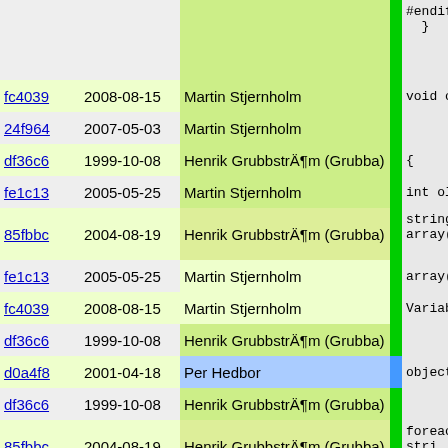| commit | date | author |  | code |
| --- | --- | --- | --- | --- |
|  |  |  |  | #endif
  } |
| fc4039 | 2008-08-15 | Martin Stjernholm |  | void cer |
| 24f964 | 2007-05-03 | Martin Stjernholm |  |  |
| df36c6 | 1999-10-08 | Henrik GrubbstrÃ¶m (Grubba) |  | { |
| fe1c13 | 2005-05-25 | Martin Stjernholm |  | int ol |
| 85fbbc | 2004-08-19 | Henrik GrubbstrÃ¶m (Grubba) |  | string
array( |
| fe1c13 | 2005-05-25 | Martin Stjernholm |  | array( |
| fc4039 | 2008-08-15 | Martin Stjernholm |  | Variab |
| df36c6 | 1999-10-08 | Henrik GrubbstrÃ¶m (Grubba) |  |  |
| d0a4f8 | 2001-04-18 | Per Hedbor |  | object |
| df36c6 | 1999-10-08 | Henrik GrubbstrÃ¶m (Grubba) |  |  |
| 85fbbc | 2004-08-19 | Henrik GrubbstrÃ¶m (Grubba) |  | foreac
stri |
| fe1c13 | 2005-05-25 | Martin Stjernholm |  | SSL3 |
| 85fbbc | 2004-08-19 | Henrik GrubbstrÃ¶m (Grubba) |  | if( |
| d0a4f8 | 2001-04-18 | Per Hedbor |  | { |